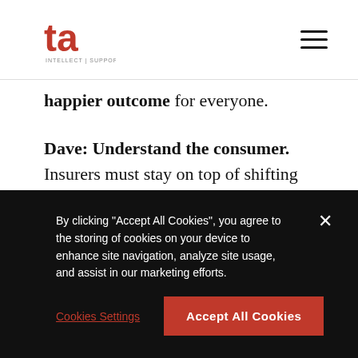ta [logo] [hamburger menu]
happier outcome for everyone.
Dave: Understand the consumer. Insurers must stay on top of shifting trends across the market: demographics, attitudes and politics. After feeling the effects from an economic downturn and a
By clicking “Accept All Cookies”, you agree to the storing of cookies on your device to enhance site navigation, analyze site usage, and assist in our marketing efforts.
Cookies Settings | Accept All Cookies